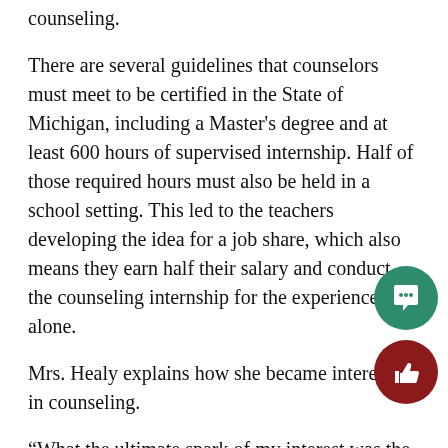counseling.
There are several guidelines that counselors must meet to be certified in the State of Michigan, including a Master’s degree and at least 600 hours of supervised internship. Half of those required hours must also be held in a school setting. This led to the teachers developing the idea for a job share, which also means they earn half their salary and conduct the counseling internship for the experience alone.
Mrs. Healy explains how she became interested in counseling.
“What the ultimate spark of my interest was the suicide of a student here about five years ago who was in my psychology class,” Mrs. Healy said. “It just really made realize that I could be doing more to help people outside teaching and really wanted to get into a program where I understand the students better, and to where I could help them more.”